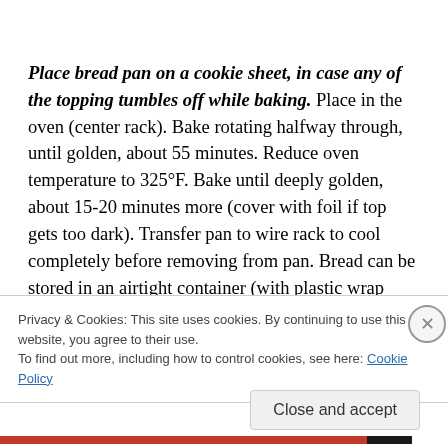Place bread pan on a cookie sheet, in case any of the topping tumbles off while baking.  Place in the oven (center rack).  Bake rotating halfway through, until golden, about 55 minutes.  Reduce oven temperature to 325°F.  Bake until deeply golden, about 15-20 minutes more (cover with foil if top gets too dark).  Transfer pan to wire rack to cool completely before removing from pan.  Bread can be stored in an airtight container (with plastic wrap...
Privacy & Cookies: This site uses cookies. By continuing to use this website, you agree to their use.
To find out more, including how to control cookies, see here: Cookie Policy
Close and accept